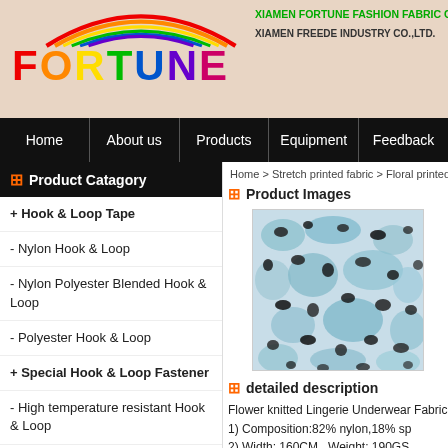[Figure (logo): Fortune rainbow logo with colorful text and rainbow arc above]
XIAMEN FORTUNE FASHION FABRIC CO.,LTD
XIAMEN FREEDE INDUSTRY CO.,LTD.
Home | About us | Products | Equipment | Feedback
Home > Stretch printed fabric > Floral printed
Product Catagory
+ Hook & Loop Tape
- Nylon Hook & Loop
- Nylon Polyester Blended Hook & Loop
- Polyester Hook & Loop
+ Special Hook & Loop Fastener
- High temperature resistant Hook & Loop
- Anti static Hook & Loop
- Side hook side loop magic tape
- Hook Loop Consubstantiality
- Back To Back Hook & Loop
Product Images
[Figure (photo): Floral printed stretch fabric with blue/teal and black flower pattern]
detailed description
Flower knitted Lingerie Underwear Fabric
1) Composition:82% nylon,18% sp
2) Width: 160CM   Weight: 190GS
3) Lead time: 15-20 days after the a
4) Price terms: FOB or according to